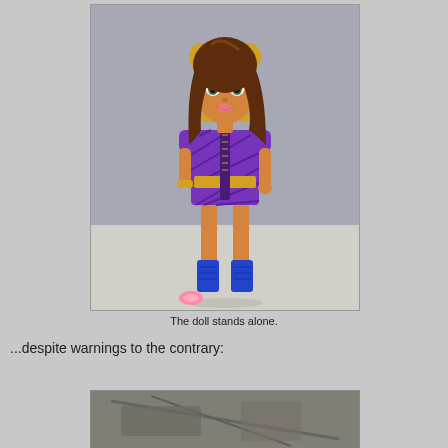[Figure (photo): A Monster High doll with brown hair in a purple patterned dress, gold accessories, and blue boots, standing upright on a gray surface with a small pink accessory on the floor nearby.]
The doll stands alone.
...despite warnings to the contrary:
[Figure (photo): Partial view of a second photo, appearing to show packaging or another item in grayscale/muted tones.]